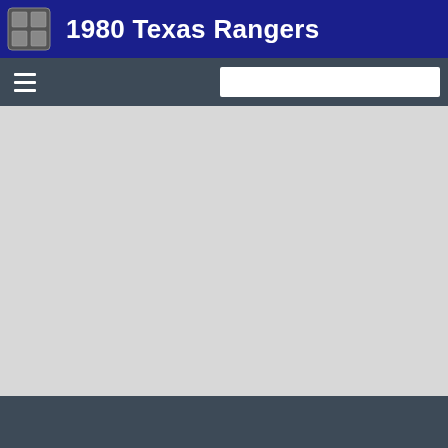1980 Texas Rangers
[Figure (screenshot): Navigation bar with hamburger menu icon and search box on dark gray background]
[Figure (screenshot): Main content area - light gray empty content region]